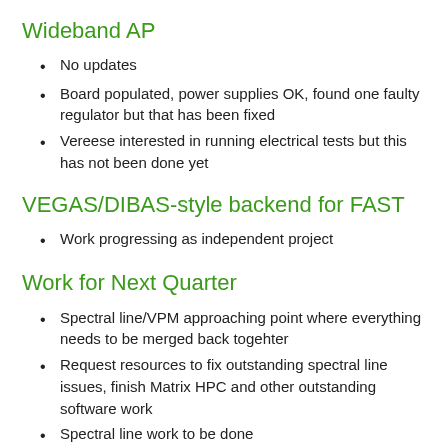Wideband AP
No updates
Board populated, power supplies OK, found one faulty regulator but that has been fixed
Vereese interested in running electrical tests but this has not been done yet
VEGAS/DIBAS-style backend for FAST
Work progressing as independent project
Work for Next Quarter
Spectral line/VPM approaching point where everything needs to be merged back togehter
Request resources to fix outstanding spectral line issues, finish Matrix HPC and other outstanding software work
Spectral line work to be done